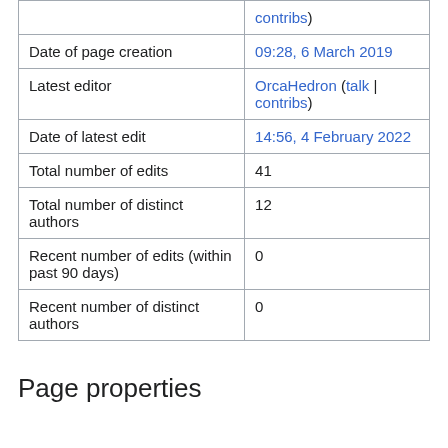|  |  |
| --- | --- |
|  | contribs) |
| Date of page creation | 09:28, 6 March 2019 |
| Latest editor | OrcaHedron (talk | contribs) |
| Date of latest edit | 14:56, 4 February 2022 |
| Total number of edits | 41 |
| Total number of distinct authors | 12 |
| Recent number of edits (within past 90 days) | 0 |
| Recent number of distinct authors | 0 |
Page properties